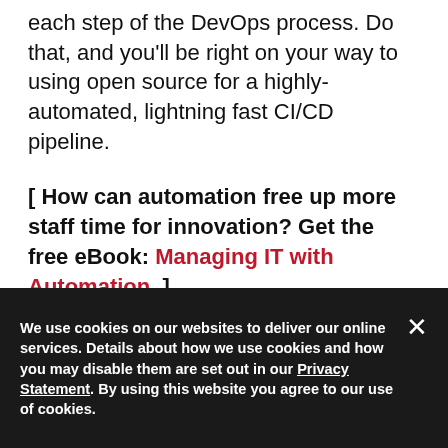each step of the DevOps process. Do that, and you'll be right on your way to using open source for a highly-automated, lightning fast CI/CD pipeline.
[ How can automation free up more staff time for innovation? Get the free eBook: Managing IT with Automation. ]
Topics: IT STRATEGY  DEVOPS  OPEN SOURCE
We use cookies on our websites to deliver our online services. Details about how we use cookies and how you may disable them are set out in our Privacy Statement. By using this website you agree to our use of cookies.